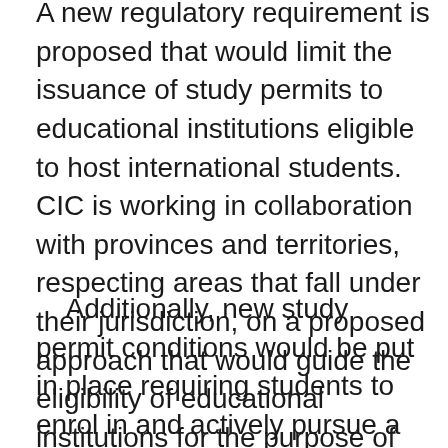A new regulatory requirement is proposed that would limit the issuance of study permits to educational institutions eligible to host international students. CIC is working in collaboration with provinces and territories, respecting areas that fall under their jurisdiction, on a proposed approach that would guide the eligibility of educational institutions for the purpose of hosting international students.
Additionally, new study permit conditions would be put in place requiring students to enrol in and actively pursue a course or program of study after arrival in Canada.